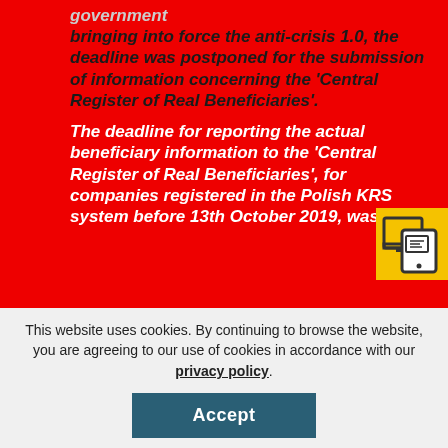government bringing into force the anti-crisis 1.0, the deadline was postponed for the submission of information concerning the 'Central Register of Real Beneficiaries'. The deadline for reporting the actual beneficiary information to the 'Central Register of Real Beneficiaries', for companies registered in the Polish KRS system before 13th October 2019, was
[Figure (illustration): Yellow icon showing two overlapping document/screen devices (tablet and monitor) with a chat/document symbol]
This website uses cookies. By continuing to browse the website, you are agreeing to our use of cookies in accordance with our privacy policy.
Accept